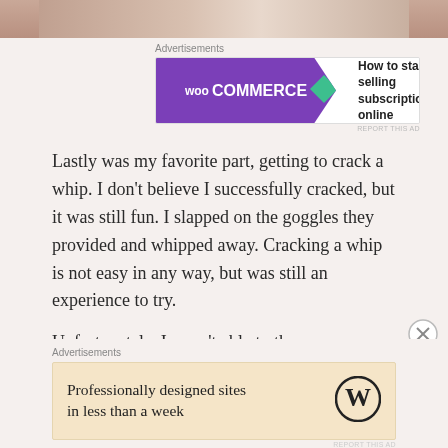[Figure (photo): Partial photo strip at top of page showing brown/tan tones]
Advertisements
[Figure (screenshot): WooCommerce advertisement banner: 'How to start selling subscriptions online']
Lastly was my favorite part, getting to crack a whip. I don't believe I successfully cracked, but it was still fun. I slapped on the goggles they provided and whipped away. Cracking a whip is not easy in any way, but was still an experience to try.
Unfortunately, I wasn't able to throw my boomerang. I am actually really dissapointed about this. I purchased one as a souvenir, but also because I was excited to actually use it. Our group was rushed into
Advertisements
[Figure (screenshot): WordPress advertisement: 'Professionally designed sites in less than a week']